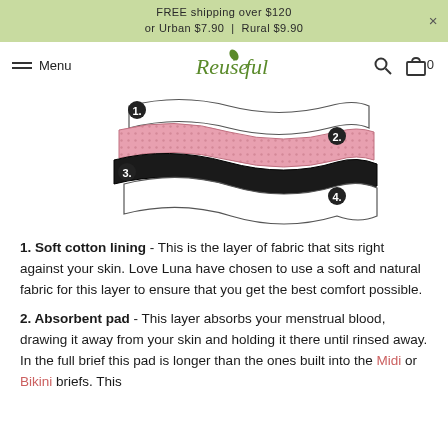FREE shipping over $120 or Urban $7.90 | Rural $9.90
[Figure (illustration): Exploded-layer diagram of a reusable period pad/brief showing 4 labeled layers: 1. top white fabric layer (soft cotton lining), 2. pink absorbent dotted pad layer, 3. dark/black leak-proof layer, 4. outer white shell layer.]
1. Soft cotton lining - This is the layer of fabric that sits right against your skin. Love Luna have chosen to use a soft and natural fabric for this layer to ensure that you get the best comfort possible.
2. Absorbent pad - This layer absorbs your menstrual blood, drawing it away from your skin and holding it there until rinsed away. In the full brief this pad is longer than the ones built into the Midi or Bikini briefs. This